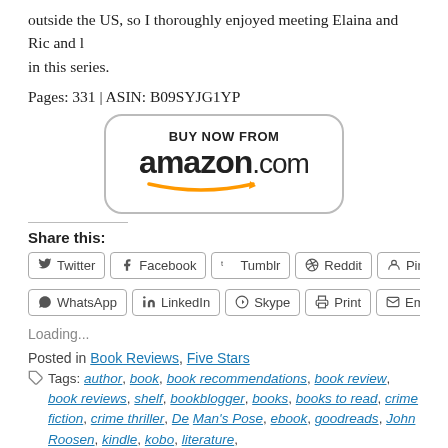outside the US, so I thoroughly enjoyed meeting Elaina and Ric and l in this series.
Pages: 331 | ASIN: B09SYJG1YP
[Figure (other): Amazon Buy Now button with amazon.com logo and orange arrow smile]
Share this:
Twitter
Facebook
Tumblr
Reddit
Pinterest
WhatsApp
LinkedIn
Skype
Print
Email
Loading...
Posted in Book Reviews, Five Stars
Tags: author, book, book recommendations, book review, book reviews, shelf, bookblogger, books, books to read, crime fiction, crime thriller, De Man's Pose, ebook, goodreads, John Roosen, kindle, kobo, literature,